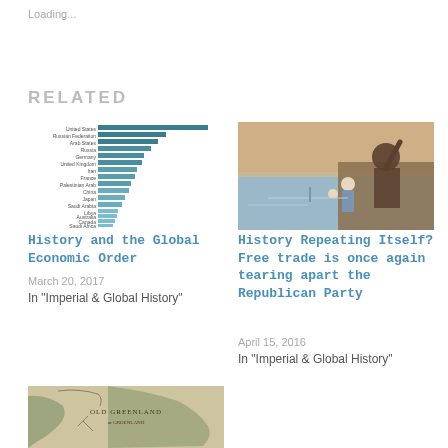Loading...
RELATED
[Figure (bar-chart): History and the Global Economic Order chart]
History and the Global Economic Order
March 20, 2017
In "Imperial & Global History"
[Figure (photo): Classical painting of mythological figures by the sea, woman with arm raised and children around rocks near water]
History Repeating Itself? Free trade is once again tearing apart the Republican Party
April 15, 2016
In "Imperial & Global History"
[Figure (map): Historical map showing Greenland region with coastlines and geographic labels including 'Old Greenland' text]